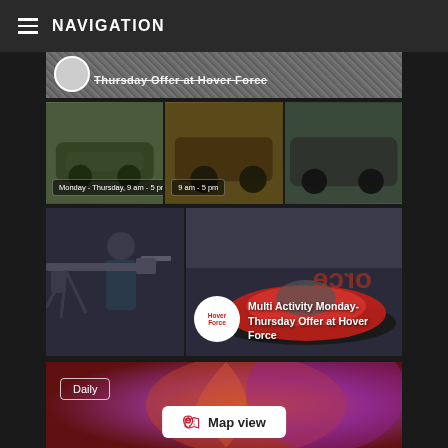≡ NAVIGATION
Thursday Offer at Hover Force
[Figure (photo): Off-road vehicles photo collage with three panels showing buggies and 4x4 vehicles, with overlaid badges: 'Monday - Thursday, 9 am - 5 pm' and '9 am - 5 pm']
[Figure (photo): Two-panel card: left shows person with a rifle/sniper setup, right shows a hovercraft with Hover Force branding and a person riding it. Logo and title 'Multi Activity Monday-Thursday Offer at Hover Force' overlaid.]
[Figure (photo): Colorful abstract/macro photo with 'Daily' badge and 'Map view' button overlay]